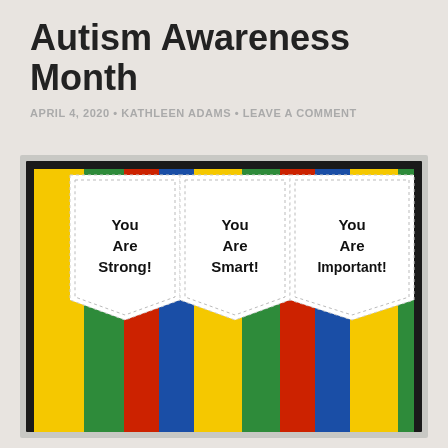Autism Awareness Month
APRIL 4, 2020 • KATHLEEN ADAMS • LEAVE A COMMENT
[Figure (photo): Craft board with three white banner-shaped tags reading 'You Are Strong!', 'You Are Smart!', and 'You Are Important!', displayed over colorful vertical stripes of yellow, green, red, and blue on a black-framed board.]